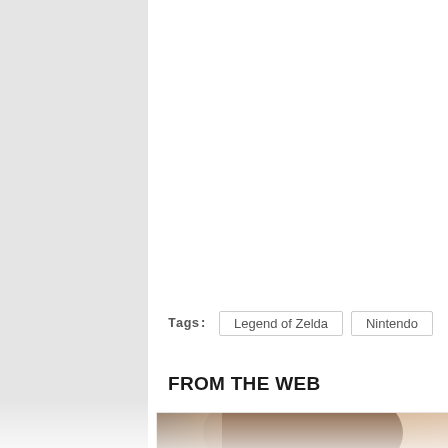Tags: Legend of Zelda  Nintendo
FROM THE WEB
[Figure (photo): Close-up photo of a young man's face from forehead to eyes, with brown hair falling across the forehead. A black square button with a white upward arrow is overlaid in the lower right of the image.]